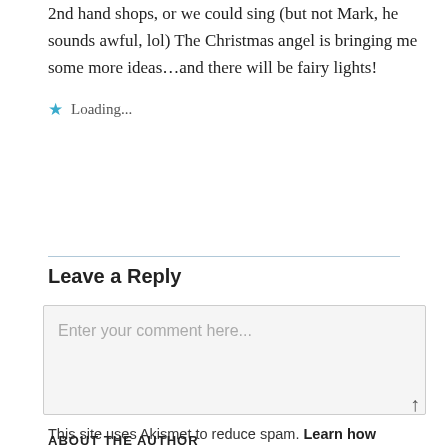2nd hand shops, or we could sing (but not Mark, he sounds awful, lol) The Christmas angel is bringing me some more ideas…and there will be fairy lights!
Loading...
Leave a Reply
Enter your comment here...
This site uses Akismet to reduce spam. Learn how your comment data is processed.
ABOUT THE AUTHOR